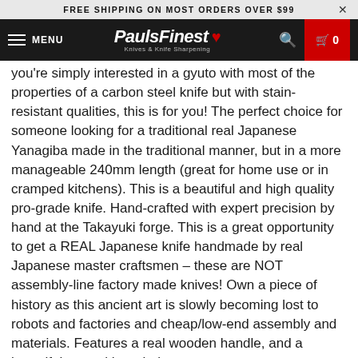FREE SHIPPING ON MOST ORDERS OVER $99
[Figure (logo): PaulsFinest Knives & Knife Sharpening logo with maple leaf, navigation bar with hamburger menu, search icon, and cart showing 0]
you're simply interested in a gyuto with most of the properties of a carbon steel knife but with stain-resistant qualities, this is for you! The perfect choice for someone looking for a traditional real Japanese Yanagiba made in the traditional manner, but in a more manageable 240mm length (great for home use or in cramped kitchens). This is a beautiful and high quality pro-grade knife. Hand-crafted with expert precision by hand at the Takayuki forge. This is a great opportunity to get a REAL Japanese knife handmade by real Japanese master craftsmen – these are NOT assembly-line factory made knives! Own a piece of history as this ancient art is slowly becoming lost to robots and factories and cheap/low-end assembly and materials. Features a real wooden handle, and a beautiful natural horn bolster.
Note: the colour of the horn bolster may vary from the photo... it's a natural material with variations from dark to light, and with varying levels of colours and patterns sometimes even within the same piece.